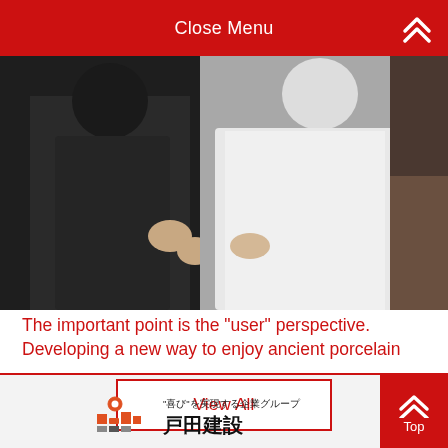Close Menu
[Figure (photo): Two people standing side by side, one in dark clothing on the left and one in a white outfit on the right, in what appears to be a restaurant or kitchen setting.]
The important point is the "user" perspective. Developing a new way to enjoy ancient porcelain
View All
[Figure (logo): Maeda Construction corporate logo with Japanese text "喜びを実現する企業グループ" (corporate group realizing joy) and company name in Japanese kanji.]